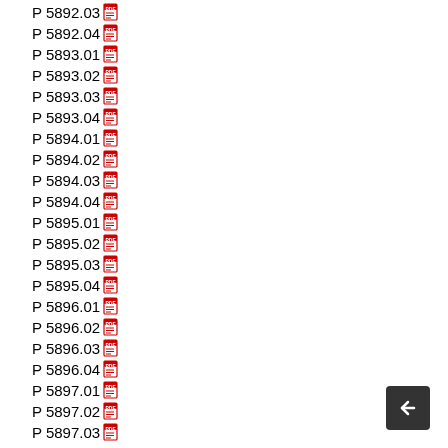P 5892.03
P 5892.04
P 5893.01
P 5893.02
P 5893.03
P 5893.04
P 5894.01
P 5894.02
P 5894.03
P 5894.04
P 5895.01
P 5895.02
P 5895.03
P 5895.04
P 5896.01
P 5896.02
P 5896.03
P 5896.04
P 5897.01
P 5897.02
P 5897.03